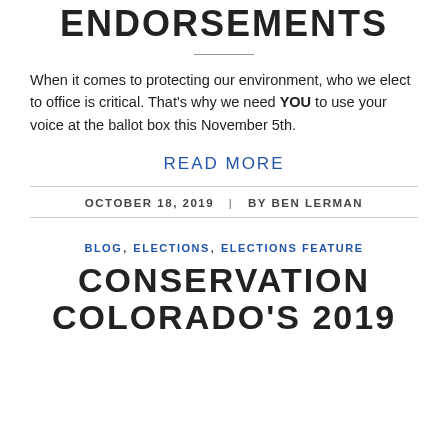ENDORSEMENTS
When it comes to protecting our environment, who we elect to office is critical. That's why we need YOU to use your voice at the ballot box this November 5th.
READ MORE
OCTOBER 18, 2019 | BY BEN LERMAN
BLOG, ELECTIONS, ELECTIONS FEATURE
CONSERVATION COLORADO'S 2019